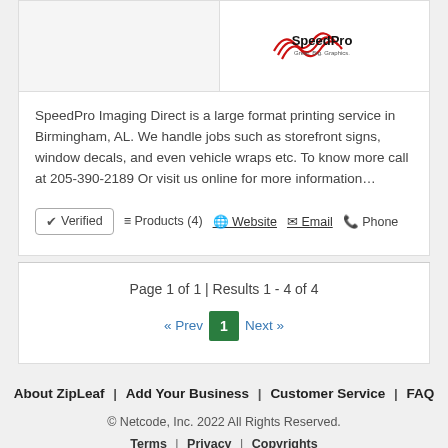[Figure (logo): SpeedPro Imaging logo with red wave/lines graphic and tagline 'Great. Big. Graphics.']
SpeedPro Imaging Direct is a large format printing service in Birmingham, AL. We handle jobs such as storefront signs, window decals, and even vehicle wraps etc. To know more call at 205-390-2189 Or visit us online for more information…
✔ Verified   ≡ Products (4)   🌐 Website   ✉ Email   📞 Phone
Page 1 of 1 | Results 1 - 4 of 4
« Prev  1  Next »
About ZipLeaf  |  Add Your Business  |  Customer Service  |  FAQ
© Netcode, Inc. 2022 All Rights Reserved.
Terms  |  Privacy  |  Copyrights